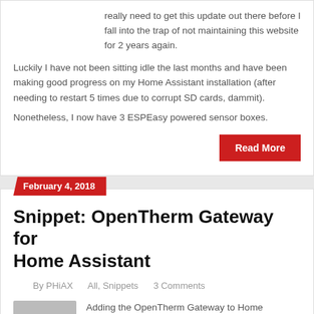really need to get this update out there before I fall into the trap of not maintaining this website for 2 years again.
Luckily I have not been sitting idle the last months and have been making good progress on my Home Assistant installation (after needing to restart 5 times due to corrupt SD cards, dammit).
Nonetheless, I now have 3 ESPEasy powered sensor boxes.
Read More
February 4, 2018
Snippet: OpenTherm Gateway for Home Assistant
By PHiAX   All, Snippets   3 Comments
Adding the OpenTherm Gateway to Home